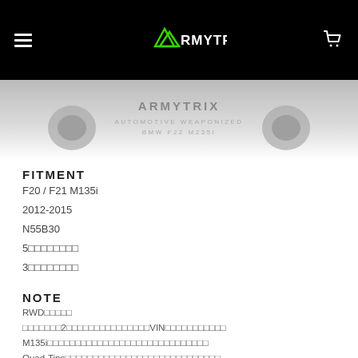Armytrix logo header with navigation
[Figure (photo): Hero image showing Armytrix Automotive Weaponized BMW F22 M235i exhaust product with text overlay]
FITMENT
F20 / F21 M135i
2012-2015
N55B30
5 Door Hatchback
3 Door Hatchback
NOTE
RWD only
There are 2 different exhaust systems available, check your VIN number to confirm which one you have
M135i valvetronic exhaust systems are compatible with all exhaust configurations
Quad-Tips available in a variety of finishes, please check the product listing for all available options
ArmytrixOBDII bluetooth module included
FEATURE